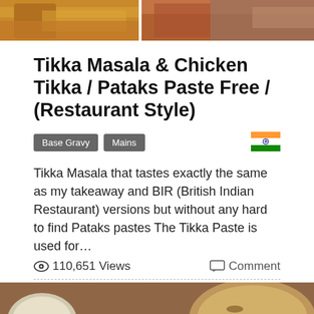[Figure (photo): Top cropped food photo showing curry dishes from above]
Tikka Masala & Chicken Tikka / Pataks Paste Free / (Restaurant Style)
Base Gravy  Mains
[Figure (illustration): Indian flag icon]
Tikka Masala that tastes exactly the same as my takeaway and BIR (British Indian Restaurant) versions but without any hard to find Pataks pastes The Tikka Paste is used for...
110,651 Views
Comment
[Figure (photo): Tikka masala curry in a karahi/balti dish with naan bread and rice in background]